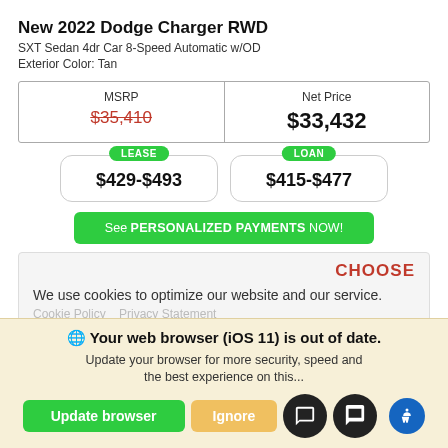New 2022 Dodge Charger RWD
SXT Sedan 4dr Car 8-Speed Automatic w/OD
Exterior Color: Tan
| MSRP | Net Price |
| --- | --- |
| $35,410 | $33,432 |
LEASE $429-$493 | LOAN $415-$477
See PERSONALIZED PAYMENTS NOW!
CHOOSE
We use cookies to optimize our website and our service.
Cookie Policy   Privacy Statement
Your web browser (iOS 11) is out of date. Update your browser for more security, speed and the best experience on this...
Update browser | Ignore